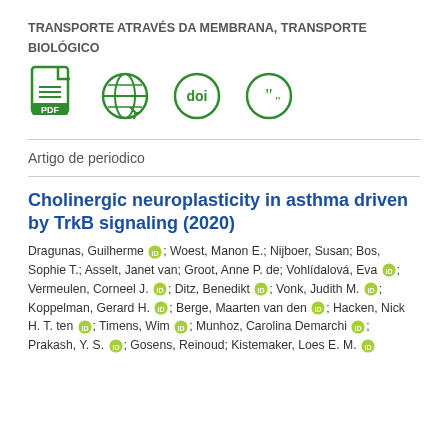TRANSPORTE ATRAVÉS DA MEMBRANA, TRANSPORTE BIOLÓGICO
[Figure (other): Row of four green icons: PDF document icon, globe/web icon, DOI icon, citation/quote icon]
Artigo de periodico
Cholinergic neuroplasticity in asthma driven by TrkB signaling (2020)
Dragunas, Guilherme [orcid]; Woest, Manon E.; Nijboer, Susan; Bos, Sophie T.; Asselt, Janet van; Groot, Anne P. de; Vohlídalová, Eva [orcid]; Vermeulen, Corneel J. [orcid]; Ditz, Benedikt [orcid]; Vonk, Judith M. [orcid]; Koppelman, Gerard H. [orcid]; Berge, Maarten van den [orcid]; Hacken, Nick H. T. ten [orcid]; Timens, Wim [orcid]; Munhoz, Carolina Demarchi [orcid]; Prakash, Y. S. [orcid]; Gosens, Reinoud; Kistemaker, Loes E. M. [orcid]